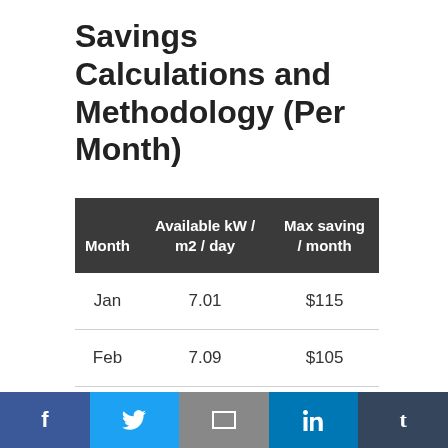Savings Calculations and Methodology (Per Month)
| Month | Available kW / m2 / day | Max saving / month |
| --- | --- | --- |
| Jan | 7.01 | $115 |
| Feb | 7.09 | $105 |
| ... | 8.00 | $101 |